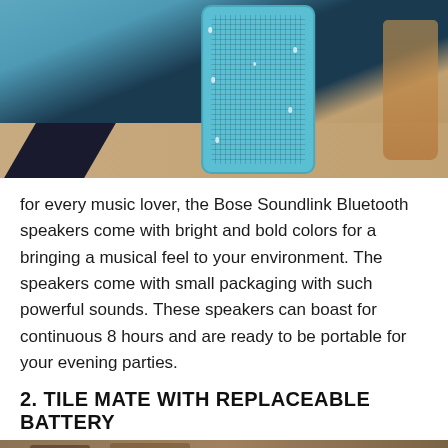[Figure (photo): Photo of a blue Bose Soundlink Bluetooth speaker with water droplets on it, sitting on a surface near a drink, with a pool or water in the background.]
for every music lover, the Bose Soundlink Bluetooth speakers come with bright and bold colors for a bringing a musical feel to your environment. The speakers come with small packaging with such powerful sounds. These speakers can boast for continuous 8 hours and are ready to be portable for your evening parties.
2. TILE MATE WITH REPLACEABLE BATTERY
[Figure (photo): Partially visible photo at the bottom of the page, appears to show objects on a surface.]